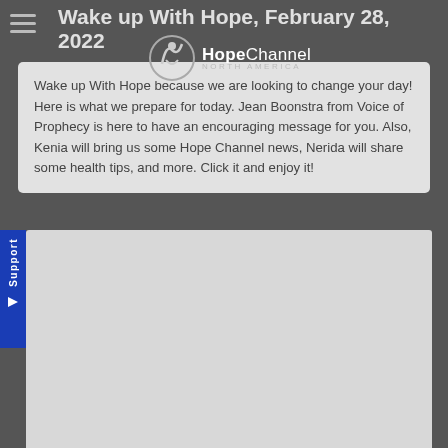Wake up With Hope, February 28, 2022
[Figure (logo): Hope Channel North America logo with stylized person/checkmark icon in a circle]
Wake up With Hope because we are looking to change your day! Here is what we prepare for today. Jean Boonstra from Voice of Prophecy is here to have an encouraging message for you. Also, Kenia will bring us some Hope Channel news, Nerida will share some health tips, and more. Click it and enjoy it!